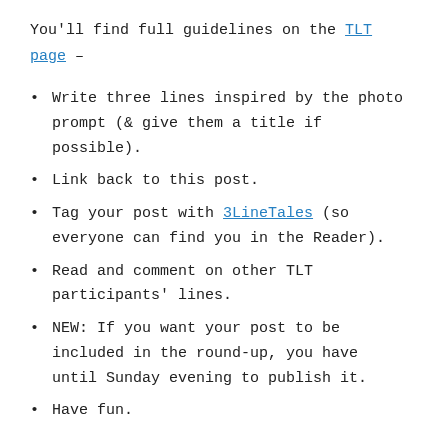You'll find full guidelines on the TLT page –
Write three lines inspired by the photo prompt (& give them a title if possible).
Link back to this post.
Tag your post with 3LineTales (so everyone can find you in the Reader).
Read and comment on other TLT participants' lines.
NEW: If you want your post to be included in the round-up, you have until Sunday evening to publish it.
Have fun.